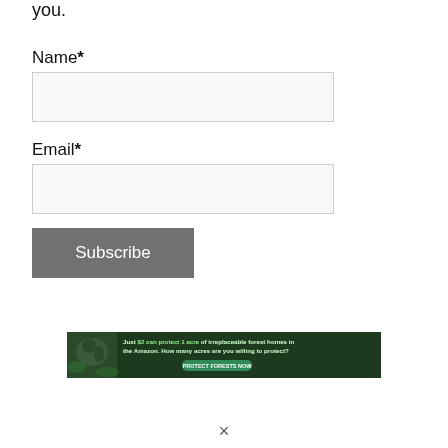you.
Name*
Email*
Subscribe
[Figure (infographic): Advertisement banner: forest/Amazon conservation ad with sloth image. Text reads: 'Just $2 can protect 1 acre of irreplaceable forest homes in the Amazon. How many acres are you willing to protect?' with a green 'PROTECT FORESTS NOW' button.]
×